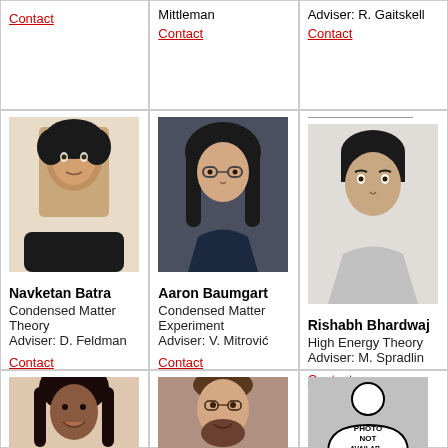Contact
Mittleman
Contact
Adviser: R. Gaitskell
Contact
[Figure (photo): Headshot photo of Navketan Batra]
Navketan Batra
Condensed Matter Theory
Adviser: D. Feldman
Contact
[Figure (photo): Headshot photo of Aaron Baumgart]
Aaron Baumgart
Condensed Matter Experiment
Adviser: V. Mitrović
Contact
[Figure (photo): Headshot photo of Rishabh Bhardwaj]
Rishabh Bhardwaj
High Energy Theory
Adviser: M. Spradlin
Contact
[Figure (photo): Headshot photo of female student]
[Figure (photo): Headshot photo of male student with beard]
[Figure (photo): Photo not available placeholder image]